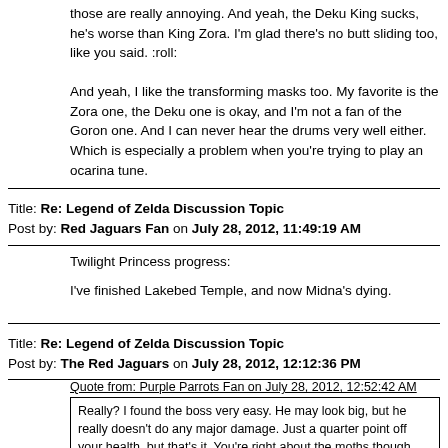those are really annoying. And yeah, the Deku King sucks, he's worse than King Zora. I'm glad there's no butt sliding too, like you said. :roll:

And yeah, I like the transforming masks too. My favorite is the Zora one, the Deku one is okay, and I'm not a fan of the Goron one. And I can never hear the drums very well either. Which is especially a problem when you're trying to play an ocarina tune.
Title: Re: Legend of Zelda Discussion Topic
Post by: Red Jaguars Fan on July 28, 2012, 11:49:19 AM
Twilight Princess progress:

I've finished Lakebed Temple, and now Midna's dying.
Title: Re: Legend of Zelda Discussion Topic
Post by: The Red Jaguars on July 28, 2012, 12:12:36 PM
Quote from: Purple Parrots Fan on July 28, 2012, 12:52:42 AM
Really? I found the boss very easy. He may look big, but he really doesn't do any major damage. Just a quarter point off your health, but that's it. You're right about the moths though, those are really annoying. And yeah, the Deku King sucks, he's worse than King Zora. I'm glad there's no butt sliding too, like you said. :roll:

And yeah, I like the transforming masks too. My favorite is the Zora one, the Deku one is okay, and I'm not a fan of the Goron one. And I can never hear the drums very well either. Which is especially a problem when you're trying to play an ocarina tune.